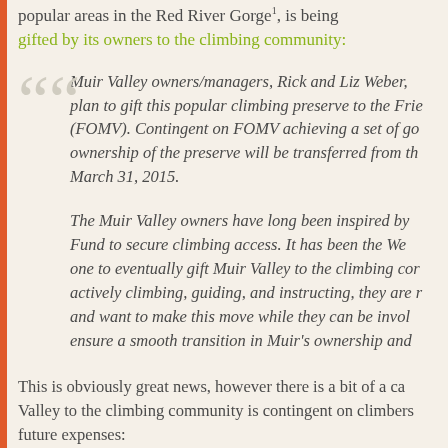popular areas in the Red River Gorge¹, is being gifted by its owners to the climbing community:
Muir Valley owners/managers, Rick and Liz Weber, plan to gift this popular climbing preserve to the Friends of Muir Valley (FOMV). Contingent on FOMV achieving a set of goals, ownership of the preserve will be transferred from the Webers by March 31, 2015.
The Muir Valley owners have long been inspired by the Access Fund to secure climbing access. It has been the Webers' dream for one to eventually gift Muir Valley to the climbing community. Still actively climbing, guiding, and instructing, they are now in their 60s and want to make this move while they can be involved enough to ensure a smooth transition in Muir's ownership and management.
This is obviously great news, however there is a bit of a catch. Gifting Muir Valley to the climbing community is contingent on climbers helping offset future expenses: